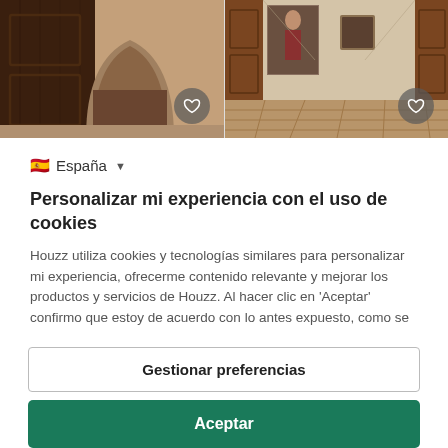[Figure (photo): Two side-by-side interior photos: left shows a dark wood door opening to an arched hallway; right shows a hallway with colorful artwork, wooden doors, and tiled floor. Each photo has a heart/favorite button overlay.]
🇪🇸 España ▼
Personalizar mi experiencia con el uso de cookies
Houzz utiliza cookies y tecnologías similares para personalizar mi experiencia, ofrecerme contenido relevante y mejorar los productos y servicios de Houzz. Al hacer clic en 'Aceptar' confirmo que estoy de acuerdo con lo antes expuesto, como se
Gestionar preferencias
Aceptar